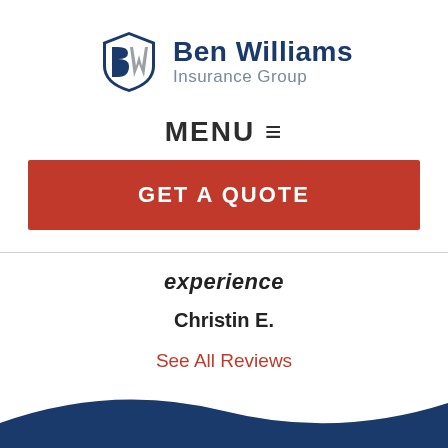[Figure (logo): Ben Williams Insurance Group logo with shield icon and company name]
MENU ≡
GET A QUOTE
experience
Christin E.
See All Reviews
[Figure (illustration): Dark navy blue wave/footer decoration at bottom of page]